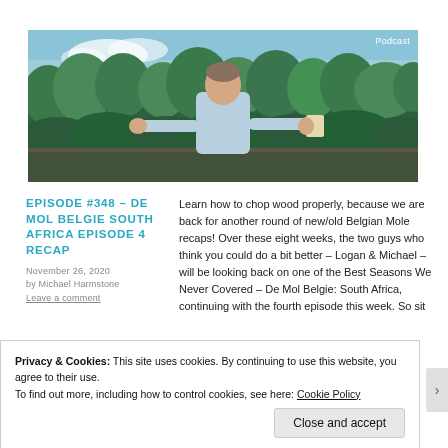[Figure (photo): Man in light blue shirt standing outdoors in a park/garden setting with green trees in the background, holding what appears to be a book or folder, with hands outstretched. A 'Podcast' label appears in the top right corner of the image.]
EPISODE #348 – DE MOL BELGIE SOUTH AFRICA EPISODE 4 RECAP
November 26, 2020
by Michael Harmstone
Leave a comment
Learn how to chop wood properly, because we are back for another round of new/old Belgian Mole recaps! Over these eight weeks, the two guys who think you could do a bit better – Logan & Michael – will be looking back on one of the Best Seasons We Never Covered – De Mol Belgie: South Africa, continuing with the fourth episode this week. So sit
Privacy & Cookies: This site uses cookies. By continuing to use this website, you agree to their use.
To find out more, including how to control cookies, see here: Cookie Policy
Close and accept